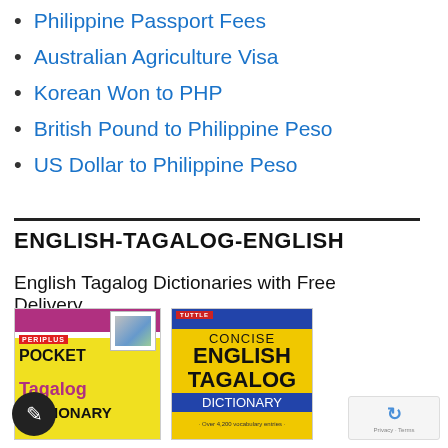Philippine Passport Fees
Australian Agriculture Visa
Korean Won to PHP
British Pound to Philippine Peso
US Dollar to Philippine Peso
ENGLISH-TAGALOG-ENGLISH
English Tagalog Dictionaries with Free Delivery Worldwide
[Figure (photo): Two English-Tagalog dictionary book covers: Periplus Pocket Tagalog Dictionary and Tuttle Concise English Tagalog Dictionary]